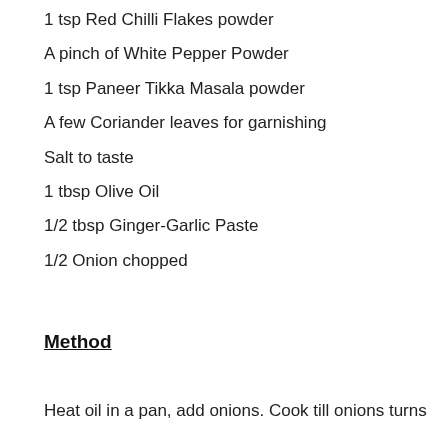1 tsp Red Chilli Flakes powder
A pinch of White Pepper Powder
1 tsp Paneer Tikka Masala powder
A few Coriander leaves for garnishing
Salt to taste
1 tbsp Olive Oil
1/2 tbsp Ginger-Garlic Paste
1/2 Onion chopped
Method
Heat oil in a pan, add onions. Cook till onions turns